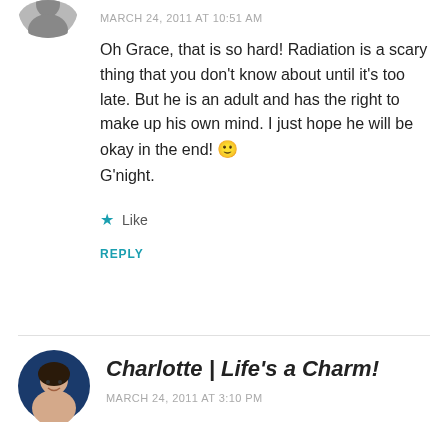[Figure (photo): Partial circular avatar photo at top left, cropped]
MARCH 24, 2011 AT 10:51 AM
Oh Grace, that is so hard! Radiation is a scary thing that you don't know about until it's too late. But he is an adult and has the right to make up his own mind. I just hope he will be okay in the end! 🙂
G'night.
★ Like
REPLY
[Figure (photo): Circular avatar photo of Charlotte, a woman smiling, dark hair, blue background]
Charlotte | Life's a Charm!
MARCH 24, 2011 AT 3:10 PM